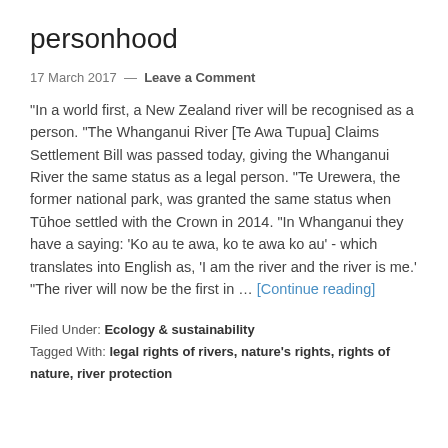personhood
17 March 2017 — Leave a Comment
"In a world first, a New Zealand river will be recognised as a person. "The Whanganui River [Te Awa Tupua] Claims Settlement Bill was passed today, giving the Whanganui River the same status as a legal person. "Te Urewera, the former national park, was granted the same status when Tūhoe settled with the Crown in 2014. "In Whanganui they have a saying: 'Ko au te awa, ko te awa ko au' - which translates into English as, 'I am the river and the river is me.' "The river will now be the first in … [Continue reading]
Filed Under: Ecology & sustainability
Tagged With: legal rights of rivers, nature's rights, rights of nature, river protection